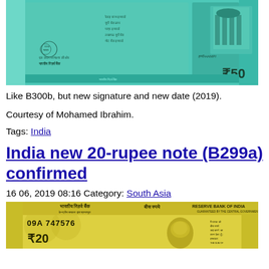[Figure (photo): Back of Indian 50-rupee banknote showing Hampi chariot wheel motif, teal color, with ₹50 denomination marking and Swachh Bharat logo]
Like B300b, but new signature and new date (2019).
Courtesy of Mohamed Ibrahim.
Tags: India
India new 20-rupee note (B299a) confirmed
16 06, 2019 08:16 Category: South Asia
[Figure (photo): Front of Indian 20-rupee banknote showing serial number 09A 747576, Gandhi portrait, yellow-green color, Reserve Bank of India text]